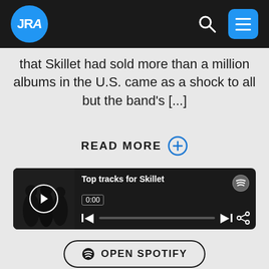[Figure (logo): JRA logo — white letters JRA on blue circle, in black header bar with search icon and blue hamburger menu button]
that Skillet had sold more than a million albums in the U.S. came as a shock to all but the band's [...]
READ MORE ⊕
[Figure (screenshot): Spotify embedded player showing 'Top tracks for Skillet', dark background, 0:00 timestamp, playback controls, Spotify logo icon]
OPEN SPOTIFY